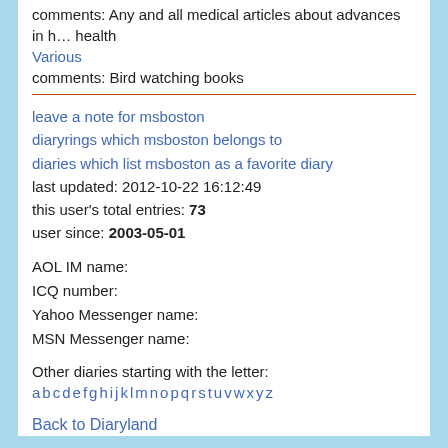comments: Any and all medical articles about advances in health
Various
comments: Bird watching books
leave a note for msboston
diaryrings which msboston belongs to
diaries which list msboston as a favorite diary
last updated: 2012-10-22 16:12:49
this user's total entries: 73
user since: 2003-05-01
AOL IM name:
ICQ number:
Yahoo Messenger name:
MSN Messenger name:
Other diaries starting with the letter:
a b c d e f g h i j k l m n o p q r s t u v w x y z
Back to Diaryland